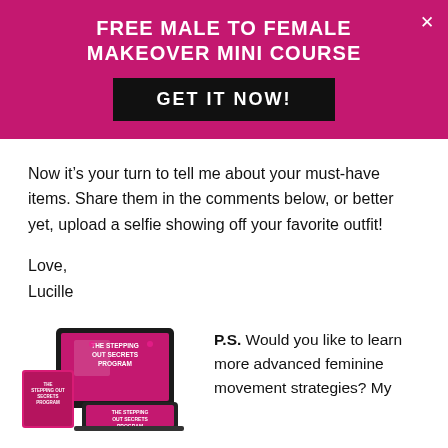FREE MALE TO FEMALE MAKEOVER MINI COURSE
GET IT NOW!
Now it’s your turn to tell me about your must-have items. Share them in the comments below, or better yet, upload a selfie showing off your favorite outfit!
Love,
Lucille
[Figure (photo): Product image showing 'The Stepping Out Secrets Program' on multiple devices including tablet, laptop, and phone screens]
P.S. Would you like to learn more advanced feminine movement strategies? My